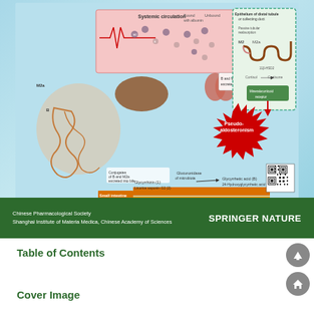[Figure (schematic): Medical/pharmacological diagram showing metabolism and circulation of licorice saponin compounds (Glycyrrhizin, Glycyrrhetic acid B, 24-Hydroxyglycyrrhetic acid M2a) through the gastrointestinal tract, systemic circulation (bound to albumin and unbound), liver, kidneys, epithelium of distal tubule or collecting duct with 11β-HSD2 enzyme converting cortisol to cortisone, mineralocorticoid receptor, and resulting in Pseudo-aldosteronism. Shows small intestine and colon microbiota involvement with glucuronidase. QR code in bottom right. Bottom green bar: Chinese Pharmacological Society, Shanghai Institute of Materia Medica, Chinese Academy of Sciences | SPRINGER NATURE logo.]
Table of Contents
Cover Image